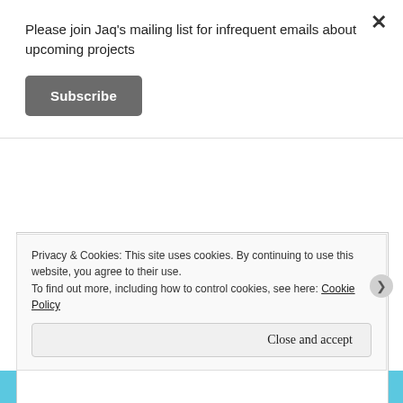Please join Jaq's mailing list for infrequent emails about upcoming projects
Subscribe
[Figure (illustration): Handwritten comic strip with three columns of handwritten text: 'OFFER A GOOD RETURN?', 'BOOK FAIR BE BENEFICIAL?', 'AT WHAT POINT DO YOU DECIDE THE MONEY NEEDS TO BE INCOMING?' with handle @JAQ at bottom left]
Privacy & Cookies: This site uses cookies. By continuing to use this website, you agree to their use.
To find out more, including how to control cookies, see here: Cookie Policy
Close and accept